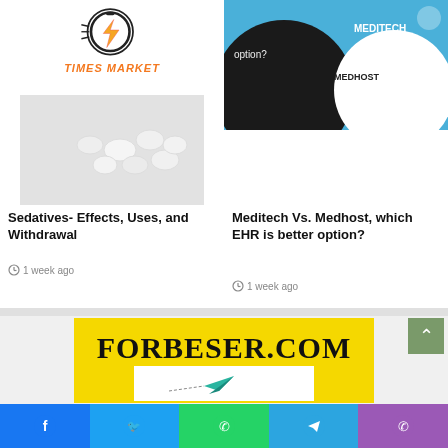[Figure (logo): Times Market logo with lightning bolt in clock circle and orange italic text TIMES MARKET]
[Figure (photo): White pills/tablets on a light background]
[Figure (illustration): Meditech vs Medhost comparison graphic with blue and black circular shapes and text labels MEDITECH and MEDHOST on blue background]
Sedatives- Effects, Uses, and Withdrawal
1 week ago
Meditech Vs. Medhost, which EHR is better option?
1 week ago
[Figure (screenshot): FORBESER.COM website screenshot showing yellow background with large bold serif text and a paper airplane graphic below on white background]
[Figure (other): Social media share bar with Facebook, Twitter, WhatsApp, Telegram, and Phone buttons]